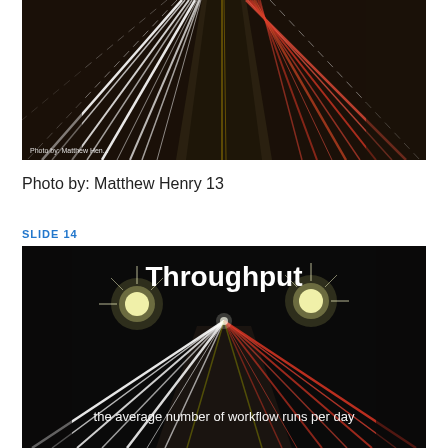[Figure (photo): Long exposure night highway photo showing light trails from cars streaking across multiple lanes viewed from an overhead perspective. Photo credit watermark visible at bottom left.]
Photo by: Matthew Henry 13
SLIDE 14
[Figure (photo): Long exposure night highway photo showing light trails from cars converging toward a vanishing point, with two bright street lights at top. White bold text 'Throughput' at top center and white text 'the average number of workflow runs per day' at bottom center.]